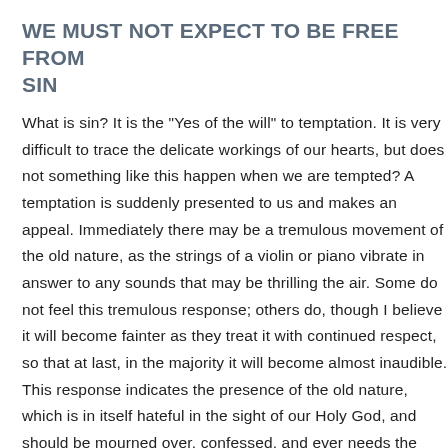WE MUST NOT EXPECT TO BE FREE FROM SIN
What is sin? It is the "Yes of the will" to temptation. It is very difficult to trace the delicate workings of our hearts, but does not something like this happen when we are tempted? A temptation is suddenly presented to us and makes an appeal. Immediately there may be a tremulous movement of the old nature, as the strings of a violin or piano vibrate in answer to any sounds that may be thrilling the air. Some do not feel this tremulous response; others do, though I believe it will become fainter as they treat it with continued respect, so that at last, in the majority it will become almost inaudible. This response indicates the presence of the old nature, which is in itself hateful in the sight of our Holy God, and should be mourned over, confessed, and ever needs the presence of the Blood of Jesus to cover it. But that tremulous movement has not, as yet, developed into a nature of sin for which we are responsible, and of which we need to repent.
Sin is the act of the will, and is only possible when the will assents to